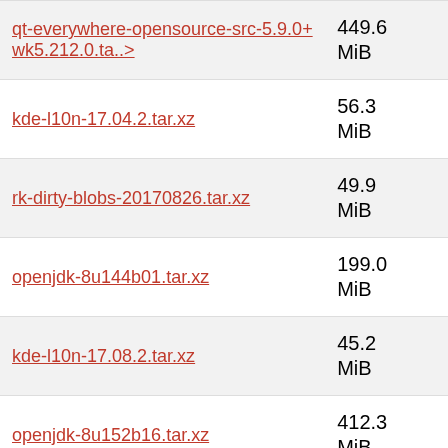| Name | Size |
| --- | --- |
| qt-everywhere-opensource-src-5.9.0+wk5.212.0.ta..> | 449.6 MiB |
| kde-l10n-17.04.2.tar.xz | 56.3 MiB |
| rk-dirty-blobs-20170826.tar.xz | 49.9 MiB |
| openjdk-8u144b01.tar.xz | 199.0 MiB |
| kde-l10n-17.08.2.tar.xz | 45.2 MiB |
| openjdk-8u152b16.tar.xz | 412.3 MiB |
| kde-l10n-17.08.3.tar.xz | 45.2 MiB |
| noto-fonts-20171204.tar.xz | 236.6 MiB |